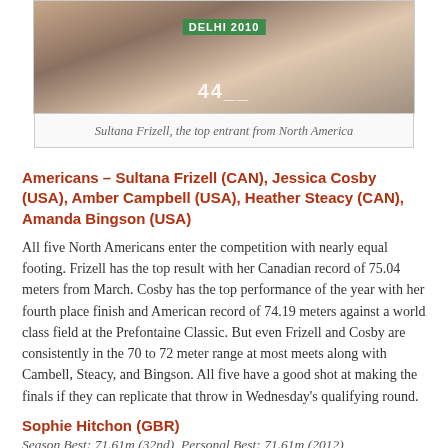[Figure (photo): Photo of Sultana Frizell at Delhi 2010 Commonwealth Games wearing a green bib]
Sultana Frizell, the top entrant from North America
Americans – Sultana Frizell (CAN), Jessica Cosby (USA), Amber Campbell (USA), Heather Steacy (CAN), Amanda Bingson (USA)
All five North Americans enter the competition with nearly equal footing. Frizell has the top result with her Canadian record of 75.04 meters from March. Cosby has the top performance of the year with her fourth place finish and American record of 74.19 meters against a world class field at the Prefontaine Classic. But even Frizell and Cosby are consistently in the 70 to 72 meter range at most meets along with Cambell, Steacy, and Bingson. All five have a good shot at making the finals if they can replicate that throw in Wednesday's qualifying round.
Sophie Hitchon (GBR)
Season Best: 71.61m (32nd), Personal Best: 71.61m (2012)
Credentials: UK Record Holder, 2010 World Junior Champion